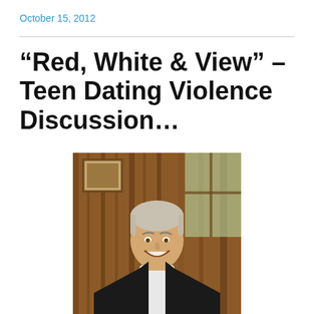October 15, 2012
“Red, White & View” – Teen Dating Violence Discussion…
[Figure (photo): Portrait photo of a smiling older man in a dark blazer and white shirt, seated in a wood-paneled office setting]